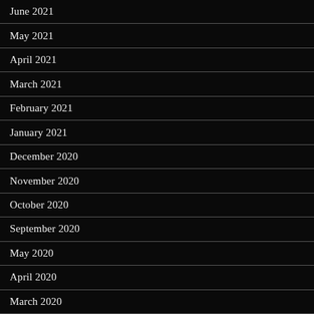June 2021
May 2021
April 2021
March 2021
February 2021
January 2021
December 2020
November 2020
October 2020
September 2020
May 2020
April 2020
March 2020